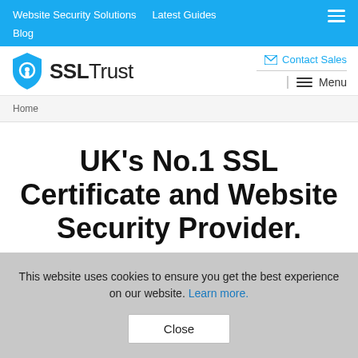Website Security Solutions  Latest Guides  Blog
[Figure (logo): SSLTrust logo with blue shield icon containing a lock, and the text SSL Trust]
Contact Sales
Menu
Home
UK's No.1 SSL Certificate and Website Security Provider.
This website uses cookies to ensure you get the best experience on our website. Learn more.
Close